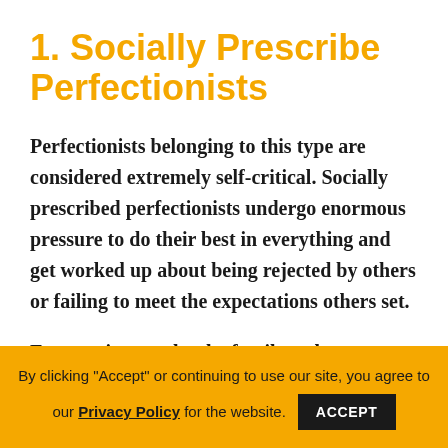1. Socially Prescribe Perfectionists
Perfectionists belonging to this type are considered extremely self-critical. Socially prescribed perfectionists undergo enormous pressure to do their best in everything and get worked up about being rejected by others or failing to meet the expectations others set.
Expectations set by the family, culture, society often lead to having low confidence and self-
By clicking "Accept" or continuing to use our site, you agree to our Privacy Policy for the website. ACCEPT